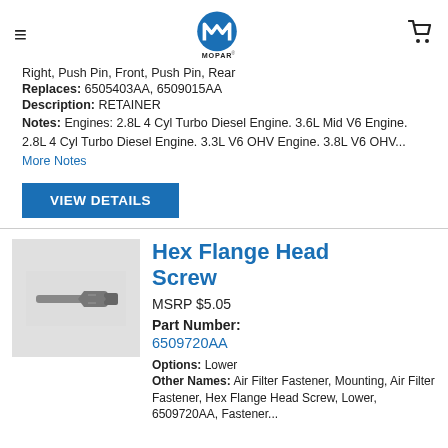[Figure (logo): Mopar logo - blue circular M symbol with MOPAR text below]
Right, Push Pin, Front, Push Pin, Rear
Replaces: 6505403AA, 6509015AA
Description: RETAINER
Notes: Engines: 2.8L 4 Cyl Turbo Diesel Engine. 3.6L Mid V6 Engine. 2.8L 4 Cyl Turbo Diesel Engine. 3.3L V6 OHV Engine. 3.8L V6 OHV... More Notes
VIEW DETAILS
Hex Flange Head Screw
MSRP $5.05
Part Number:
6509720AA
Options: Lower
Other Names: Air Filter Fastener, Mounting, Air Filter Fastener, Hex Flange Head Screw, Lower, 6509720AA, Fastener...